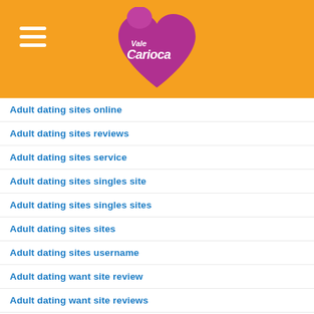[Figure (logo): Vale Carioca logo — purple heart shape with white handwritten-style text reading 'Vale Carioca' inside, set on an orange header bar with a hamburger menu icon on the left]
Adult dating sites online
Adult dating sites reviews
Adult dating sites service
Adult dating sites singles site
Adult dating sites singles sites
Adult dating sites sites
Adult dating sites username
Adult dating want site review
Adult dating want site reviews
adult friend finder online status
Adult Hookup App reviews
Adult Hub review
Adult Hub username
Adult Hub visitors